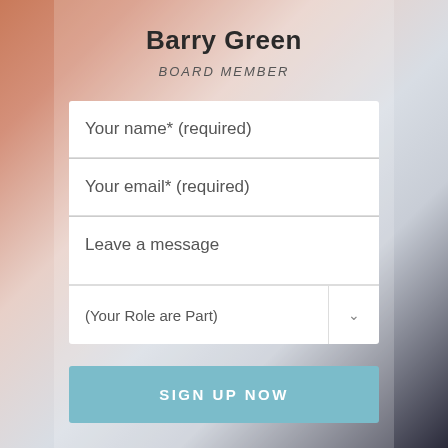Barry Green
BOARD MEMBER
Your name* (required)
Your email* (required)
Leave a message
(Your Role are Part)
SIGN UP NOW